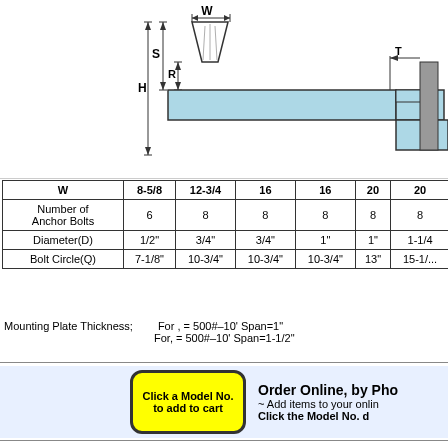[Figure (engineering-diagram): Engineering schematic showing a cross-section of a mounting assembly with labeled dimensions: W (width), R, S, H (height), T, P. The assembly shows a trapezoidal insert, a horizontal beam/tube (light blue), and a connection detail on the right with a stepped profile.]
| W | 8-5/8 | 12-3/4 | 16 | 16 | 20 | 20 |
| --- | --- | --- | --- | --- | --- | --- |
| Number of Anchor Bolts | 6 | 8 | 8 | 8 | 8 | 8 |
| Diameter(D) | 1/2" | 3/4" | 3/4" | 1" | 1" | 1-1/4 |
| Bolt Circle(Q) | 7-1/8" | 10-3/4" | 10-3/4" | 10-3/4" | 13" | 15-1/... |
Mounting Plate Thickness;   For , = 500#–10' Span=1"
   For, = 500#–10' Span=1-1/2"
Order Online, by Pho
~ Add items to your onlin
Click the Model No. d
[Figure (other): Yellow rounded rectangle button with text: Click a Model No. to add to cart]